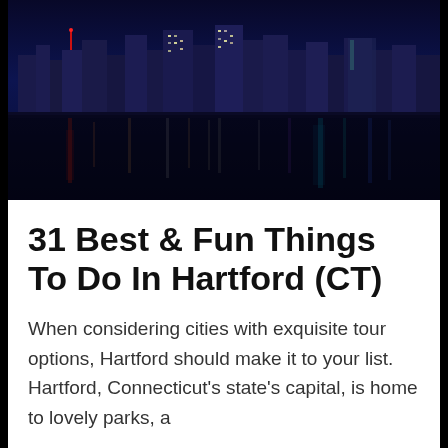[Figure (photo): Night cityscape of Hartford, CT skyline reflected in a river, with illuminated buildings against a dark blue sky and colorful light reflections in the water below.]
31 Best & Fun Things To Do In Hartford (CT)
When considering cities with exquisite tour options, Hartford should make it to your list. Hartford, Connecticut's state's capital, is home to lovely parks, a